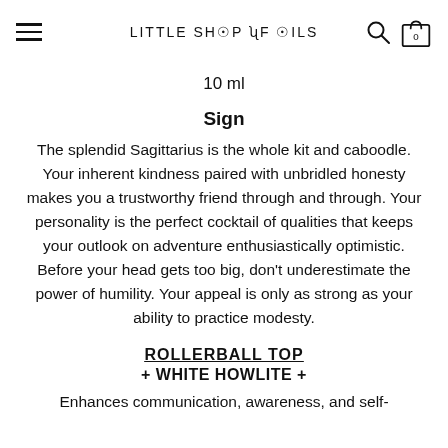LITTLE SHOP OF OILS
10 ml
Sign
The splendid Sagittarius is the whole kit and caboodle. Your inherent kindness paired with unbridled honesty makes you a trustworthy friend through and through. Your personality is the perfect cocktail of qualities that keeps your outlook on adventure enthusiastically optimistic. Before your head gets too big, don't underestimate the power of humility. Your appeal is only as strong as your ability to practice modesty.
ROLLERBALL TOP + WHITE HOWLITE +
Enhances communication, awareness, and self-